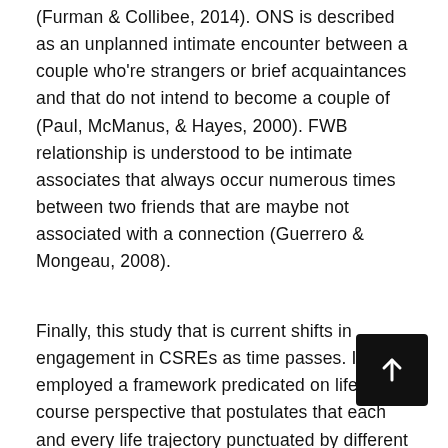(Furman & Collibee, 2014). ONS is described as an unplanned intimate encounter between a couple who're strangers or brief acquaintances and that do not intend to become a couple of (Paul, McManus, & Hayes, 2000). FWB relationship is understood to be intimate associates that always occur numerous times between two friends that are maybe not associated with a connection (Guerrero & Mongeau, 2008).
Finally, this study that is current shifts in engagement in CSREs as time passes. It employed a framework predicated on life course perspective that postulates that each and every life trajectory punctuated by different transitions that could place in numerous sequences (Carpenter, 2015). No